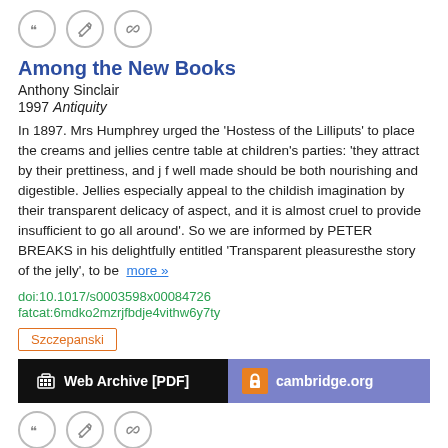[Figure (other): Row of three icon buttons: quote, edit, link]
Among the New Books
Anthony Sinclair
1997 Antiquity
In 1897. Mrs Humphrey urged the 'Hostess of the Lilliputs' to place the creams and jellies centre table at children's parties: 'they attract by their prettiness, and j f well made should be both nourishing and digestible. Jellies especially appeal to the childish imagination by their transparent delicacy of aspect, and it is almost cruel to provide insufficient to go all around'. So we are informed by PETER BREAKS in his delightfully entitled 'Transparent pleasuresthe story of the jelly', to be  more »
doi:10.1017/s0003598x00084726
fatcat:6mdko2mzrjfbdje4vithw6y7ty
Szczepanski
Web Archive [PDF]
cambridge.org
[Figure (other): Row of three icon buttons: quote, edit, link]